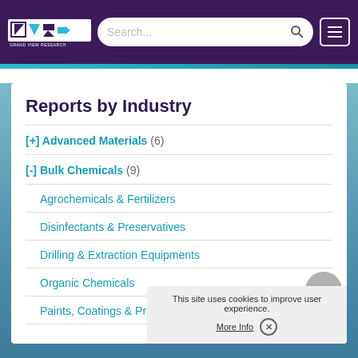Grand View Research — header with logo, search bar, and menu button
Reports by Industry
[+] Advanced Materials (6)
[-] Bulk Chemicals (9)
Agrochemicals & Fertilizers
Disinfectants & Preservatives
Drilling & Extraction Equipments
Organic Chemicals
Paints, Coatings & Printin…
This site uses cookies to improve user experience. More Info